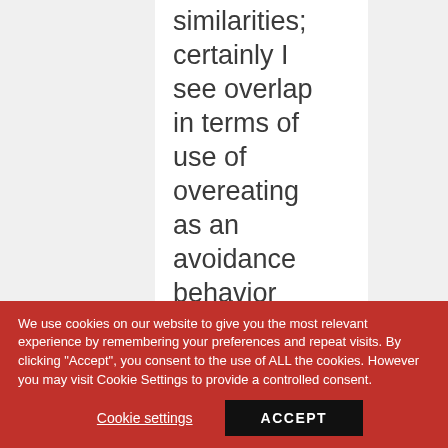similarities; certainly I see overlap in terms of use of overeating as an avoidance behavior (not always formally diagnosed
We use cookies on our website to give you the most relevant experience by remembering your preferences and repeat visits. By clicking "Accept", you consent to the use of ALL the cookies. However you may visit Cookie Settings to provide a controlled consent.